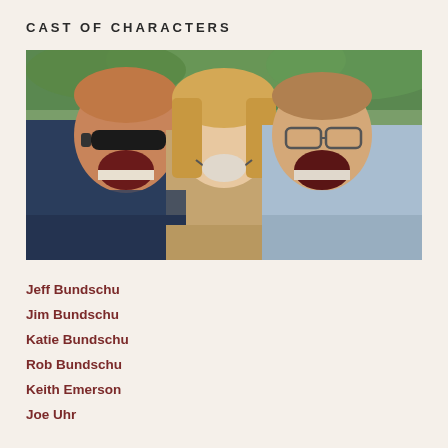CAST OF CHARACTERS
[Figure (photo): Three smiling people outdoors with greenery in the background. On the left, a man with reddish hair wearing dark sunglasses and a navy top, laughing with mouth wide open. In the center, a young blonde woman with a beige quilted jacket, smiling broadly. On the right, an older man with glasses and a light blue shirt, laughing with mouth open.]
Jeff Bundschu
Jim Bundschu
Katie Bundschu
Rob Bundschu
Keith Emerson
Joe Uhr